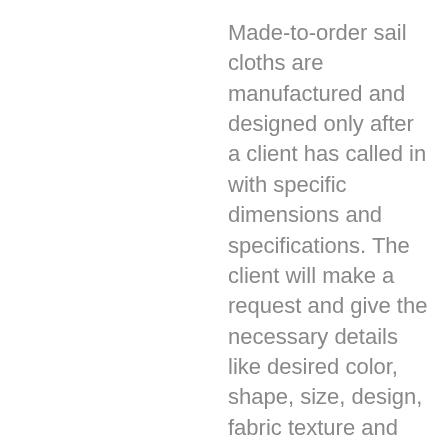Made-to-order sail cloths are manufactured and designed only after a client has called in with specific dimensions and specifications. The client will make a request and give the necessary details like desired color, shape, size, design, fabric texture and protective layers. They come with more specific protective layer treatment as requested by the client.